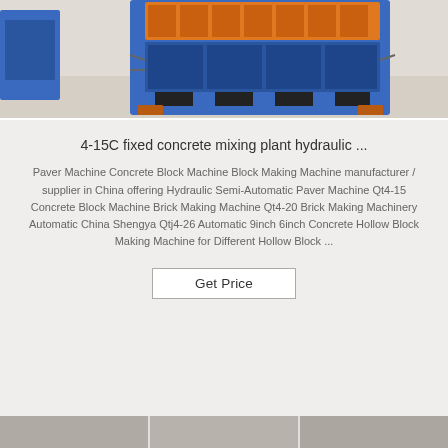[Figure (photo): Photo of a blue hydraulic concrete block making machine / paver machine on a warehouse floor, partially cropped at top]
4-15C fixed concrete mixing plant hydraulic ...
Paver Machine Concrete Block Machine Block Making Machine manufacturer / supplier in China offering Hydraulic Semi-Automatic Paver Machine Qt4-15 Concrete Block Machine Brick Making Machine Qt4-20 Brick Making Machinery Automatic China Shengya Qtj4-26 Automatic 9inch 6inch Concrete Hollow Block Making Machine for Different Hollow Block ...
Get Price
[Figure (photo): Three small product thumbnail images partially visible at the bottom of the page]